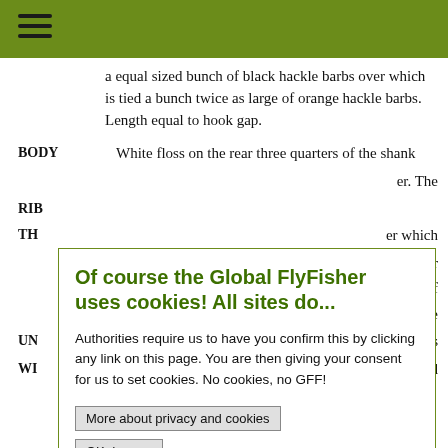a equal sized bunch of black hackle barbs over which is tied a bunch twice as large of orange hackle barbs. Length equal to hook gap.
BODY   White floss on the rear three quarters of the shank
RIB
TH
UN
WI   spotted
Of course the Global FlyFisher uses cookies! All sites do...

Authorities require us to have you confirm this by clicking any link on this page. You are then giving your consent for us to set cookies. No cookies, no GFF!

More about privacy and cookies
OK, I agree